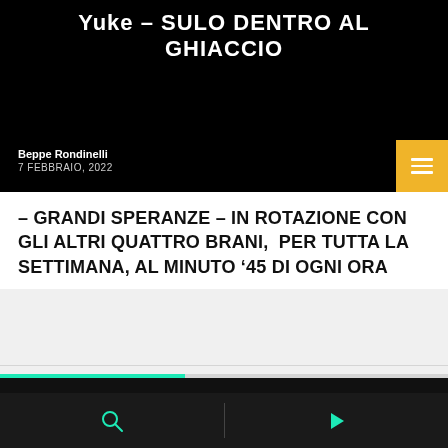Yuke – Sulo dentro al Ghiaccio
Beppe Rondinelli
7 FEBBRAIO, 2022
– GRANDI SPERANZE – IN ROTAZIONE CON GLI ALTRI QUATTRO BRANI,  PER TUTTA LA SETTIMANA, AL MINUTO '45 DI OGNI ORA
GRANDI SPERANZE
0